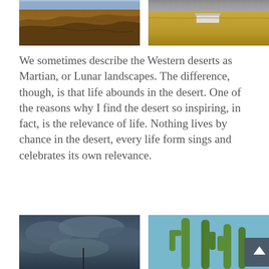[Figure (photo): Desert badlands landscape with eroded red-brown rocky terrain and a narrow canyon, blue sky on the horizon.]
[Figure (photo): Golden dry grass field with a small white building and dark rocky hills in the background.]
We sometimes describe the Western deserts as Martian, or Lunar landscapes. The difference, though, is that life abounds in the desert. One of the reasons why I find the desert so inspiring, in fact, is the relevance of life. Nothing lives by chance in the desert, every life form sings and celebrates its own relevance.
[Figure (photo): Dark blue cloudy sky with some structures silhouetted, possibly telephoto photo at dusk.]
[Figure (photo): Tall green saguaro cacti against a bright blue sky, with a small bird or nest visible.]